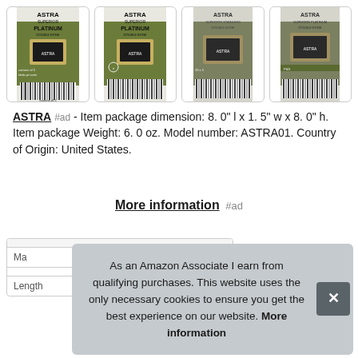[Figure (photo): Four Astra Superior Platinum double edge razor blade product images in a row]
ASTRA #ad - Item package dimension: 8. 0" l x 1. 5" w x 8. 0" h. Item package Weight: 6. 0 oz. Model number: ASTRA01. Country of Origin: United States.
More information #ad
| Ma |  |
| Length | 8 inches |
As an Amazon Associate I earn from qualifying purchases. This website uses the only necessary cookies to ensure you get the best experience on our website. More information